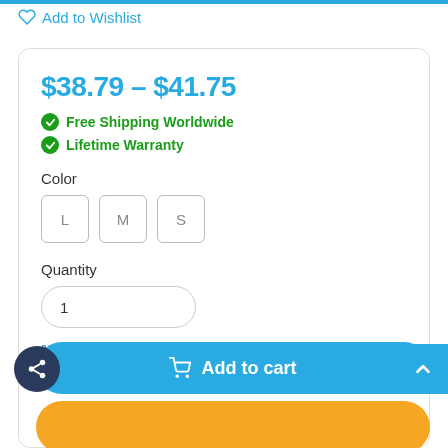Add to Wishlist
$38.79 – $41.75
Free Shipping Worldwide
Lifetime Warranty
Color
L  M  S
Quantity
1
% Buy More, Pay Less
Add to cart